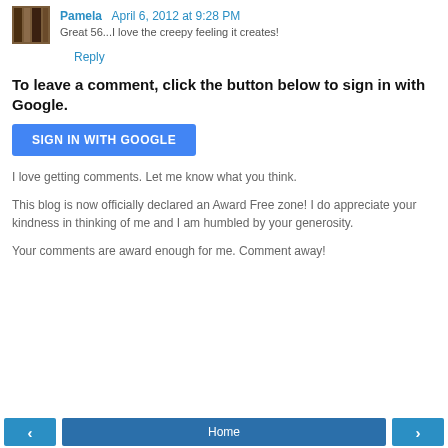Pamela April 6, 2012 at 9:28 PM
Great 56...I love the creepy feeling it creates!
Reply
To leave a comment, click the button below to sign in with Google.
SIGN IN WITH GOOGLE
I love getting comments. Let me know what you think.
This blog is now officially declared an Award Free zone! I do appreciate your kindness in thinking of me and I am humbled by your generosity.
Your comments are award enough for me. Comment away!
‹  Home  ›